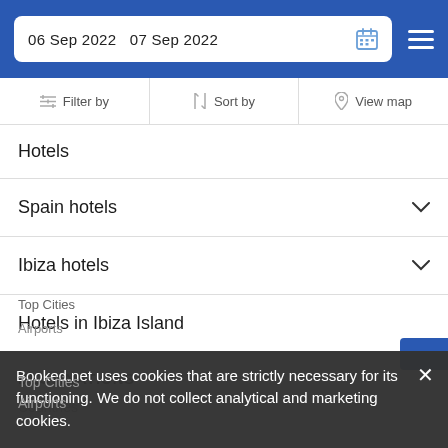06 Sep 2022   07 Sep 2022
Filter by   Sort by   View map
Hotels
Spain hotels
Ibiza hotels
Hotels in Ibiza Island
DESTINATIONS
Countries
Top Cities
Airports
Booked.net uses cookies that are strictly necessary for its functioning. We do not collect analytical and marketing cookies.